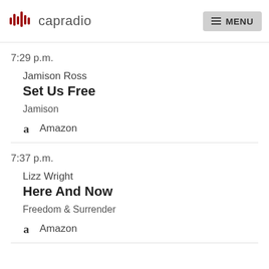capradio | MENU
7:29 p.m.
Jamison Ross
Set Us Free
Jamison
Amazon
7:37 p.m.
Lizz Wright
Here And Now
Freedom & Surrender
Amazon